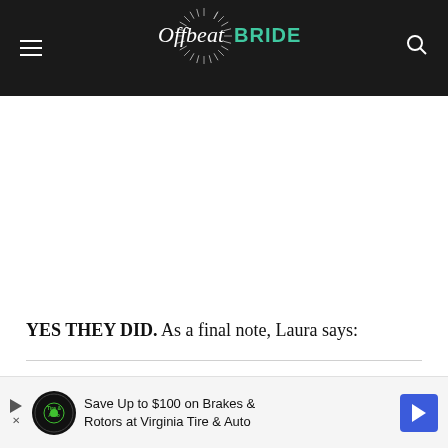Offbeat Bride
[Figure (photo): White blank/image area below header]
YES THEY DID. As a final note, Laura says:
Ali spent about 150 hours on the dress… and
[Figure (screenshot): Advertisement banner: Save Up to $100 on Brakes & Rotors at Virginia Tire & Auto]